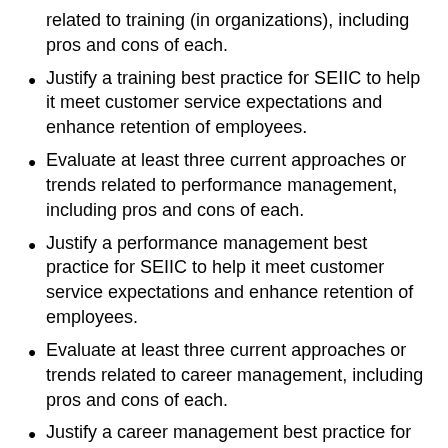related to training (in organizations), including pros and cons of each.
Justify a training best practice for SEIIC to help it meet customer service expectations and enhance retention of employees.
Evaluate at least three current approaches or trends related to performance management, including pros and cons of each.
Justify a performance management best practice for SEIIC to help it meet customer service expectations and enhance retention of employees.
Evaluate at least three current approaches or trends related to career management, including pros and cons of each.
Justify a career management best practice for SEIIC to help it meet customer service expectations and